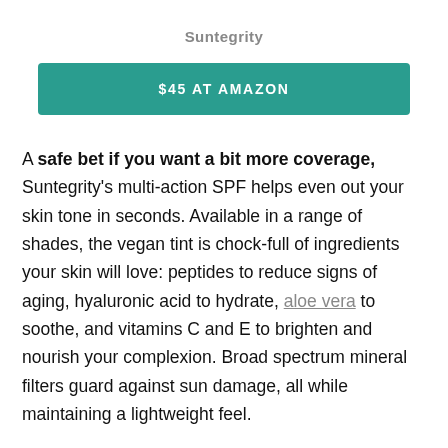Suntegrity
$45 AT AMAZON
A safe bet if you want a bit more coverage, Suntegrity's multi-action SPF helps even out your skin tone in seconds. Available in a range of shades, the vegan tint is chock-full of ingredients your skin will love: peptides to reduce signs of aging, hyaluronic acid to hydrate, aloe vera to soothe, and vitamins C and E to brighten and nourish your complexion. Broad spectrum mineral filters guard against sun damage, all while maintaining a lightweight feel.